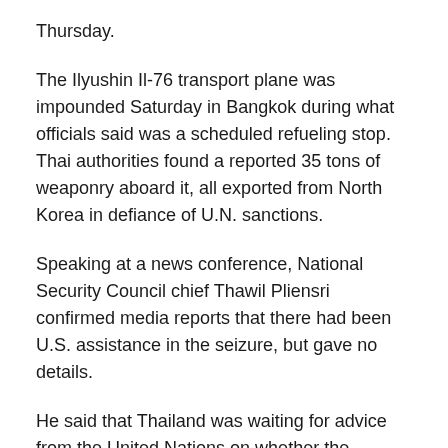Thursday.
The Ilyushin Il-76 transport plane was impounded Saturday in Bangkok during what officials said was a scheduled refueling stop. Thai authorities found a reported 35 tons of weaponry aboard it, all exported from North Korea in defiance of U.N. sanctions.
Speaking at a news conference, National Security Council chief Thawil Pliensri confirmed media reports that there had been U.S. assistance in the seizure, but gave no details.
He said that Thailand was waiting for advice from the United Nations on whether the weapons should be destroyed.
The U.N. sanctions — which ban North Korea from exporting any arms — were imposed in June after the reclusive